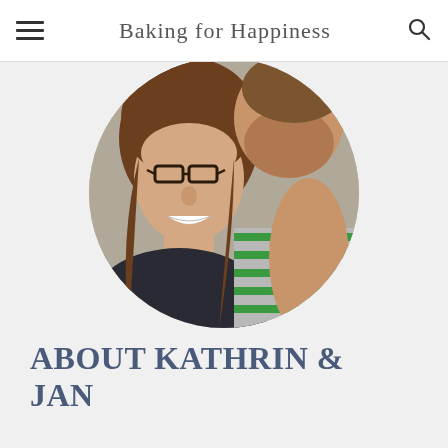Baking for Happiness
[Figure (photo): Circular cropped photo of two people, a smiling woman with glasses and brown hair, and a man wearing a green-striped gray shirt]
ABOUT KATHRIN & JAN
It's like a little miracle to me every time. Seemingly simple ingredients are made